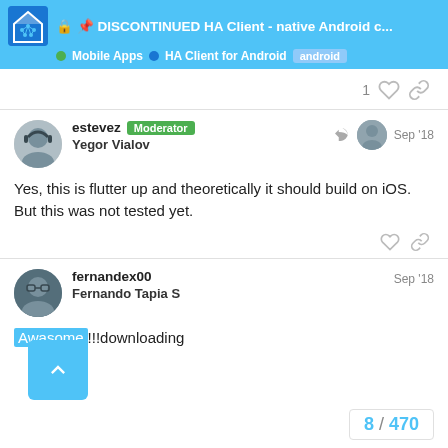🔒 📌 DISCONTINUED HA Client - native Android c... | Mobile Apps | HA Client for Android | android
1
estevez Moderator
Yegor Vialov
Sep '18
Yes, this is flutter up and theoretically it should build on iOS. But this was not tested yet.
fernandex00
Fernando Tapia S
Sep '18
Awasome!!!downloading
8 / 470